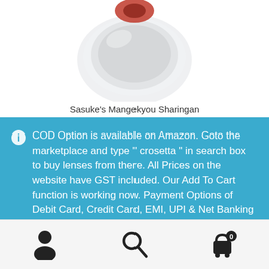[Figure (photo): Product image of Sasuke's Mangekyou Sharingan contact lens in clear plastic packaging, partially visible at top of page]
Sasuke's Mangekyou Sharingan
COD Option is available on Amazon. Goto the marketplace and type " crosetta " in search box to buy lenses from there. All Prices on the website have GST included. Our Add To Cart function is working now. Payment Options of Debit Card, Credit Card, EMI, UPI & Net Banking are available.
Dismiss
[Figure (infographic): Bottom navigation bar with account/person icon, search magnifying glass icon, and shopping cart icon with badge showing 0]